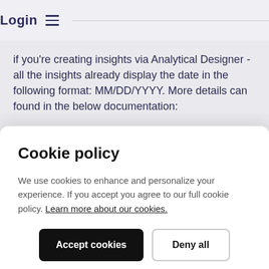Login
if you're creating insights via Analytical Designer - all the insights already display the date in the following format: MM/DD/YYYY. More details can found in the below documentation:
Cookie policy
We use cookies to enhance and personalize your experience. If you accept you agree to our full cookie policy. Learn more about our cookies.
Accept cookies
Deny all
Cookie settings